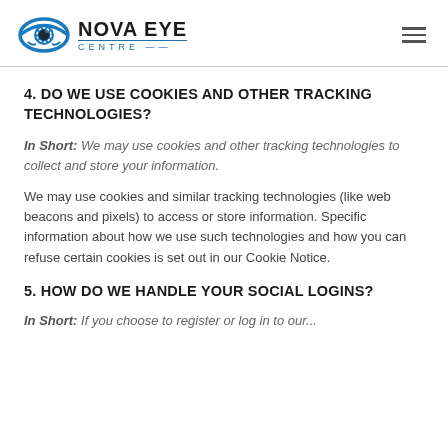NOVA EYE CENTRE
4. DO WE USE COOKIES AND OTHER TRACKING TECHNOLOGIES?
In Short: We may use cookies and other tracking technologies to collect and store your information.
We may use cookies and similar tracking technologies (like web beacons and pixels) to access or store information. Specific information about how we use such technologies and how you can refuse certain cookies is set out in our Cookie Notice.
5. HOW DO WE HANDLE YOUR SOCIAL LOGINS?
In Short: If you choose to register or log in to our...